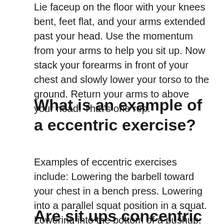Lie faceup on the floor with your knees bent, feet flat, and your arms extended past your head. Use the momentum from your arms to help you sit up. Now stack your forearms in front of your chest and slowly lower your torso to the ground. Return your arms to above your head. That’s one rep.
What is an example of a eccentric exercise?
Examples of eccentric exercises include: Lowering the barbell toward your chest in a bench press. Lowering into a parallel squat position in a squat. Lowering into the bottom of a pushup.
Are sit ups concentric or